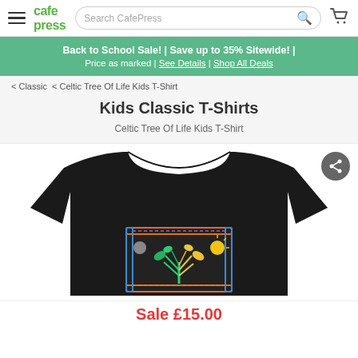CafePress — Search CafePress
Back to School Sale! | Save up to 35% Sitewide! | Price as marked | See Details | Shop All Deals
< Classic  < Celtic Tree Of Life Kids T-Shirt
Kids Classic T-Shirts
Celtic Tree Of Life Kids T-Shirt
[Figure (photo): Black kids t-shirt with a Celtic Tree of Life design showing colorful knotwork border and a tree with sun and moon motifs]
Sale £15.00